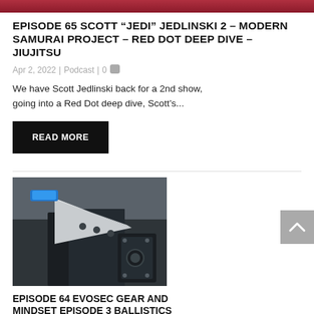[Figure (photo): Red/dark colored image strip at top of page (partial image from previous entry)]
EPISODE 65 SCOTT “JEDI” JEDLINSKI 2 – MODERN SAMURAI PROJECT – RED DOT DEEP DIVE – JIUJITSU
Apr 2, 2022 | Podcast | 0
We have Scott Jedlinski back for a 2nd show, going into a Red Dot deep dive, Scott’s...
READ MORE
[Figure (photo): Photo of tactical knives and firearm equipment on a surface; one knife has a blue handle]
EPISODE 64 EVOSEC GEAR AND MINDSET EPISODE 3 BALLISTICS